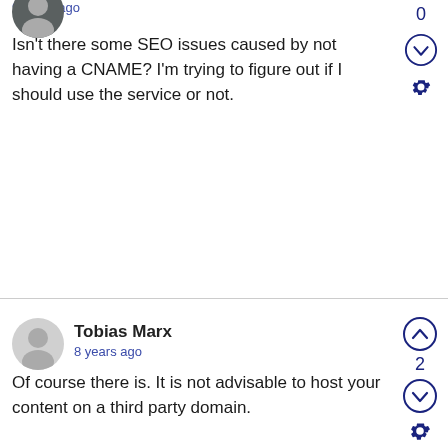9 years ago
Isn't there some SEO issues caused by not having a CNAME? I'm trying to figure out if I should use the service or not.
Tobias Marx
8 years ago
Of course there is. It is not advisable to host your content on a third party domain.
I do not understand why this is not part of any package - but only the advanced plan.
Itai Laban